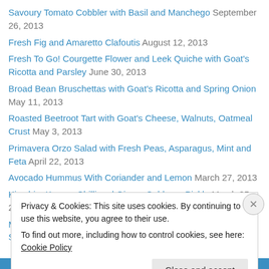Savoury Tomato Cobbler with Basil and Manchego September 26, 2013
Fresh Fig and Amaretto Clafoutis August 12, 2013
Fresh To Go! Courgette Flower and Leek Quiche with Goat's Ricotta and Parsley June 30, 2013
Broad Bean Bruschettas with Goat's Ricotta and Spring Onion May 11, 2013
Roasted Beetroot Tart with Goat's Cheese, Walnuts, Oatmeal Crust May 3, 2013
Primavera Orzo Salad with Fresh Peas, Asparagus, Mint and Feta April 22, 2013
Avocado Hummus With Coriander and Lemon March 27, 2013
Kimchi – Korean Chilli and Ginger Cabbage Pickle March 25, 2013
Mushroom Risotto Stuffed Baked Fennel Bulbs with Tomato Sauce
Privacy & Cookies: This site uses cookies. By continuing to use this website, you agree to their use. To find out more, including how to control cookies, see here: Cookie Policy
Close and accept